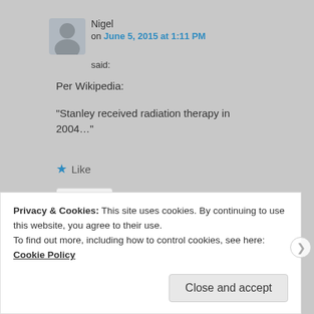Nigel on June 5, 2015 at 1:11 PM said:
Per Wikipedia:

“Stanley received radiation therapy in 2004…”
★ Like
Reply ↓
Privacy & Cookies: This site uses cookies. By continuing to use this website, you agree to their use.
To find out more, including how to control cookies, see here: Cookie Policy
Close and accept